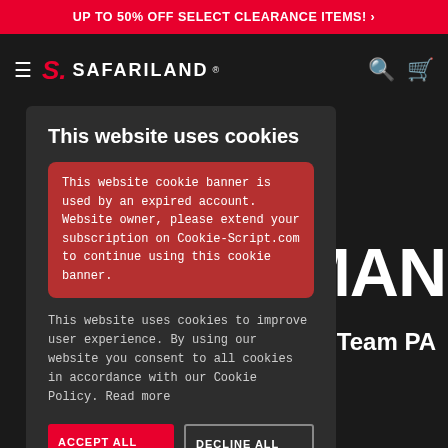UP TO 50% OFF SELECT CLEARANCE ITEMS! ›
[Figure (logo): Safariland logo with hamburger menu, search and cart icons on dark navigation bar]
RMAN
Team PA
This website uses cookies
This website cookie banner is used by an expired account. Website owner, please extend your subscription on Cookie-Script.com to continue using this cookie banner.
This website uses cookies to improve user experience. By using our website you consent to all cookies in accordance with our Cookie Policy. Read more
ACCEPT ALL
DECLINE ALL
SHOW DETAILS